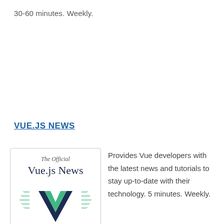30-60 minutes. Weekly.
VUE.JS NEWS
[Figure (logo): The Official Vue.js News logo with Vue.js winged chevron icon in green and dark navy]
Provides Vue developers with the latest news and tutorials to stay up-to-date with their technology. 5 minutes. Weekly.